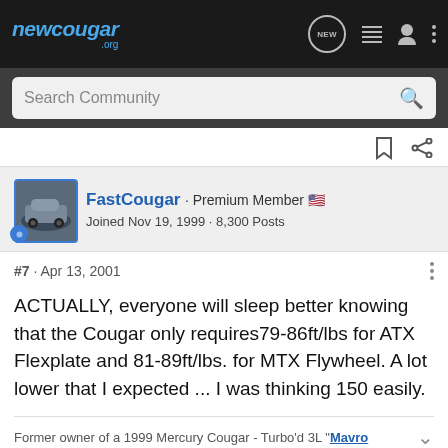newcougar.org
Search Community
FastCougar · Premium Member 🇺🇸
Joined Nov 19, 1999 · 8,300 Posts
#7 · Apr 13, 2001
ACTUALLY, everyone will sleep better knowing that the Cougar only requires79-86ft/lbs for ATX Flexplate and 81-89ft/lbs. for MTX Flywheel. A lot lower that I expected ... I was thinking 150 easily.
Former owner of a 1999 Mercury Cougar - Turbo'd 3L "Mavro